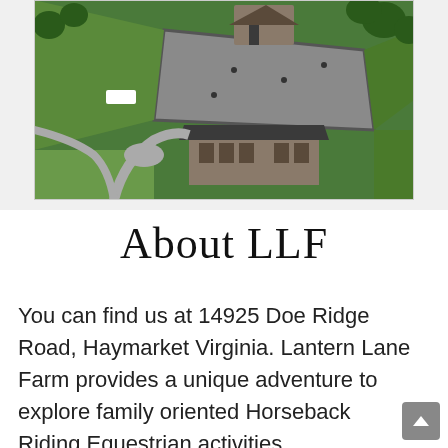[Figure (photo): Aerial drone photograph of Lantern Lane Farm showing a large riding arena, barn building with dark roof, green fields, trees, driveway with circular turn, and a white vehicle. The property is in Haymarket, Virginia.]
About LLF
You can find us at 14925 Doe Ridge Road, Haymarket Virginia. Lantern Lane Farm provides a unique adventure to explore family oriented Horseback Riding Equestrian activities.